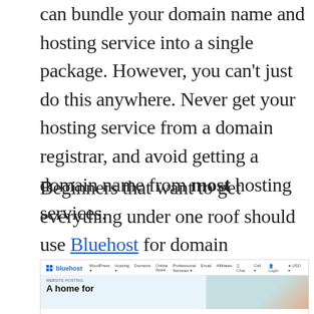don't need to register multiple domains, you can bundle your domain name and hosting service into a single package. However, you can't just do this anywhere. Never get your hosting service from a domain registrar, and avoid getting a domain name from most hosting services.
Beginners that want to get everything under one roof should use Bluehost for domain registration and web hosting.
[Figure (screenshot): Screenshot of Bluehost website homepage showing the bluehost logo with grid icon, navigation menu (WordPress, Hosting, Domains, Online Store, Professional Services, Email, Affiliates), and hero section with 'WEBSITE HOSTING' label and 'A home for' heading in large bold text on a light blue background, with an image of a person on the right.]